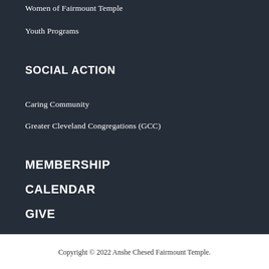Women of Fairmount Temple
Youth Programs
SOCIAL ACTION
Caring Community
Greater Cleveland Congregations (GCC)
MEMBERSHIP
CALENDAR
GIVE
Copyright © 2022 Anshe Chesed Fairmount Temple.